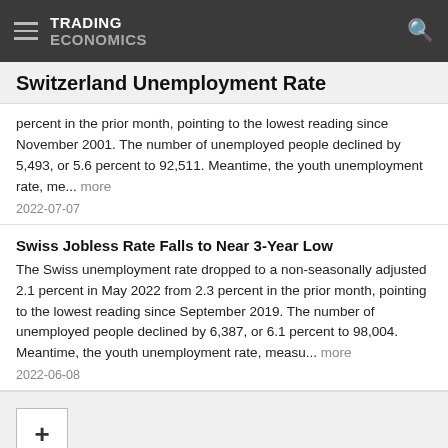TRADING ECONOMICS
Switzerland Unemployment Rate
percent in the prior month, pointing to the lowest reading since November 2001. The number of unemployed people declined by 5,493, or 5.6 percent to 92,511. Meantime, the youth unemployment rate, me... more
2022-07-07
Swiss Jobless Rate Falls to Near 3-Year Low
The Swiss unemployment rate dropped to a non-seasonally adjusted 2.1 percent in May 2022 from 2.3 percent in the prior month, pointing to the lowest reading since September 2019. The number of unemployed people declined by 6,387, or 6.1 percent to 98,004. Meantime, the youth unemployment rate, measu... more
2022-06-08